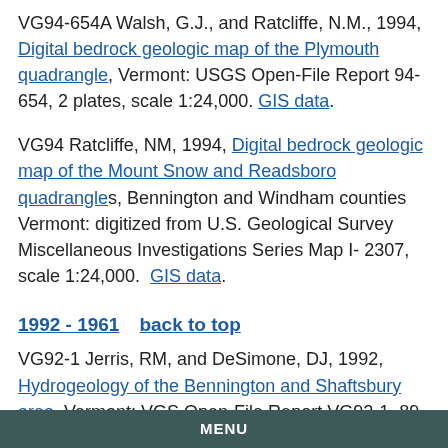VG94-654A Walsh, G.J., and Ratcliffe, N.M., 1994, Digital bedrock geologic map of the Plymouth quadrangle, Vermont: USGS Open-File Report 94-654, 2 plates, scale 1:24,000. GIS data.
VG94 Ratcliffe, NM, 1994, Digital bedrock geologic map of the Mount Snow and Readsboro quadrangles, Bennington and Windham counties Vermont: digitized from U.S. Geological Survey Miscellaneous Investigations Series Map I- 2307, scale 1:24,000. GIS data.
1992 - 1961    back to top
VG92-1 Jerris, RM, and DeSimone, DJ, 1992, Hydrogeology of the Bennington and Shaftsbury area, Vermont: VGS Open-File Report VG92-1, 89 p., 7 plates.
VG92-2 DeSimone, DJ, and Dethier, DP, 1992, Surficial Geology of the Pownal and North Pownal area, Vermont: VGS Open-File Report VG92-2, 64 p., 2 plates, scale
MENU